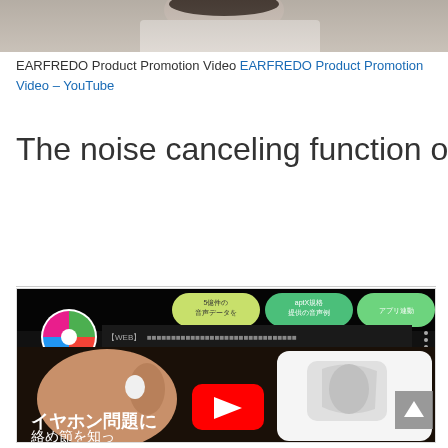[Figure (photo): Top portion of a person wearing white clothing, cropped at top of page]
EARFREDO Product Promotion Video EARFREDO Product Promotion Video – YouTube
The noise canceling function of "er-CO
[Figure (screenshot): YouTube video thumbnail showing a person wearing an earphone with Japanese text 'イヤホン問題に' and a YouTube play button overlay. Top bar shows Japanese text about 5億件の音声データ, aptX規格, アプリ連動. Channel logo with colorful X icon visible.]